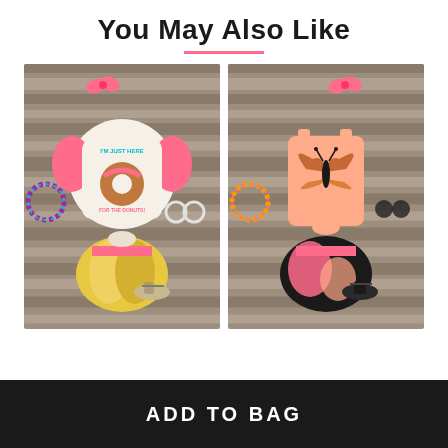You May Also Like
[Figure (photo): Left product photo: children's outfit flatlay on wood background. Pink raglan t-shirt with donut graphic reading 'I'm Just Here For The Donuts', tie-dye yellow shorts, pink hair bows, colorful beaded bracelet, white sunglasses, and sandals.]
[Figure (photo): Right product photo: children's outfit flatlay on wood background. Peach tank top with butterfly graphic, tie-dye pink/black shorts, pink hair bows, colorful beaded bracelet, dark sunglasses, and glittery sandals.]
ADD TO BAG